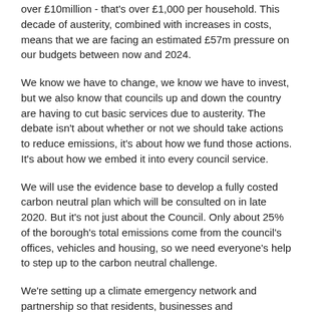over £10million - that's over £1,000 per household. This decade of austerity, combined with increases in costs, means that we are facing an estimated £57m pressure on our budgets between now and 2024.
We know we have to change, we know we have to invest, but we also know that councils up and down the country are having to cut basic services due to austerity. The debate isn't about whether or not we should take actions to reduce emissions, it's about how we fund those actions. It's about how we embed it into every council service.
We will use the evidence base to develop a fully costed carbon neutral plan which will be consulted on in late 2020. But it's not just about the Council. Only about 25% of the borough's total emissions come from the council's offices, vehicles and housing, so we need everyone's help to step up to the carbon neutral challenge.
We're setting up a climate emergency network and partnership so that residents, businesses and organisations within the borough can help us develop our plans. The first partnership meeting is at the end of February and I can't wait. We're getting people who wouldn't normally be in a room together - businesses, climate experts and campaigners all working towards a common goal.